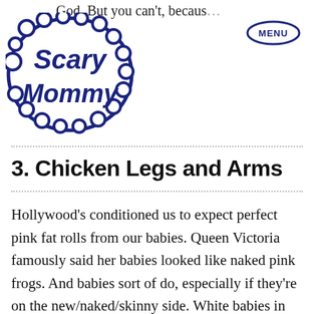just... God. But you can't, because... • MENU
[Figure (logo): Scary Mommy logo — dark navy bubble-letter wordmark]
3. Chicken Legs and Arms
Hollywood’s conditioned us to expect perfect pink fat rolls from our babies. Queen Victoria famously said her babies looked like naked pink frogs. And babies sort of do, especially if they’re on the new/naked/skinny side. White babies in particular tend to be particularly reddish, with that just-plucked chicken look we’re supposed to adore. Don’t worry. They all look like that